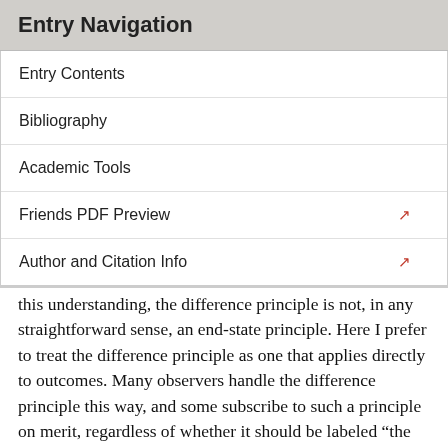Entry Navigation
Entry Contents
Bibliography
Academic Tools
Friends PDF Preview
Author and Citation Info
this understanding, the difference principle is not, in any straightforward sense, an end-state principle. Here I prefer to treat the difference principle as one that applies directly to outcomes. Many observers handle the difference principle this way, and some subscribe to such a principle on merit, regardless of whether it should be labeled “the difference principle.” Some writers, such as G. A. Cohen, think that Rawls ought to understand his principle in this way, in view of the principle’s rationale.) Finally, there is (e) utilitarianism, given which we should maximize the sum of welfare.